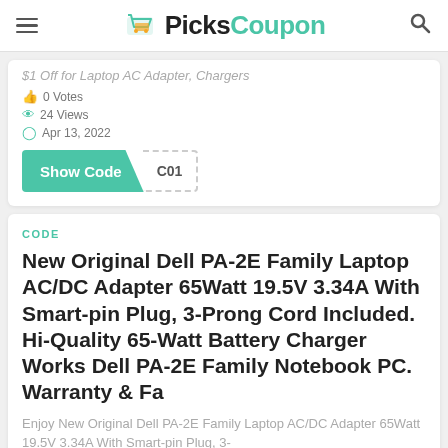PicksCoupon
$1 Off for Laptop AC Adapter, Chargers
0 Votes
24 Views
Apr 13, 2022
Show Code C01
CODE
New Original Dell PA-2E Family Laptop AC/DC Adapter 65Watt 19.5V 3.34A With Smart-pin Plug, 3-Prong Cord Included. Hi-Quality 65-Watt Battery Charger Works Dell PA-2E Family Notebook PC. Warranty & Fa
Enjoy New Original Dell PA-2E Family Laptop AC/DC Adapter 65Watt 19.5V 3.34A With Smart-pin Plug, 3-